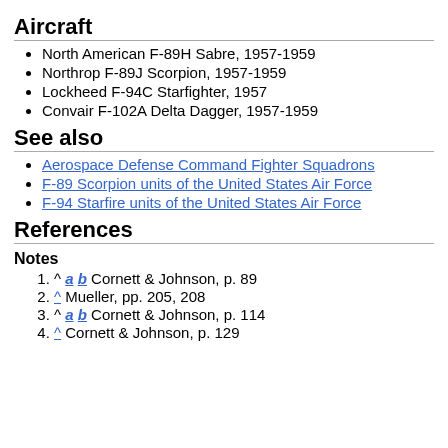Aircraft
North American F-89H Sabre, 1957-1959
Northrop F-89J Scorpion, 1957-1959
Lockheed F-94C Starfighter, 1957
Convair F-102A Delta Dagger, 1957-1959
See also
Aerospace Defense Command Fighter Squadrons
F-89 Scorpion units of the United States Air Force
F-94 Starfire units of the United States Air Force
References
Notes
^ a b Cornett & Johnson, p. 89
^ Mueller, pp. 205, 208
^ a b Cornett & Johnson, p. 114
^ Cornett & Johnson, p. 129